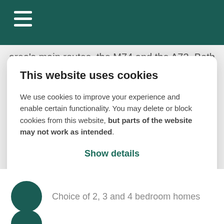area's main routes, the M74 and the A73. Both routes join the M8 to the north, for both Glasgow and Edinburgh
This website uses cookies
We use cookies to improve your experience and enable certain functionality. You may delete or block cookies from this website, but parts of the website may not work as intended.
Show details
Allow all
Choice of 2, 3 and 4 bedroom homes